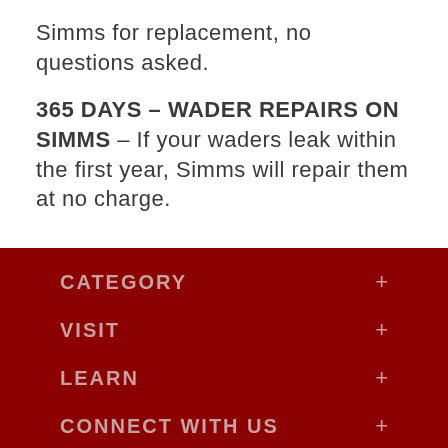Simms for replacement, no questions asked.
365 DAYS – WADER REPAIRS ON SIMMS – If your waders leak within the first year, Simms will repair them at no charge.
CATEGORY +
VISIT +
LEARN +
CONNECT WITH US +